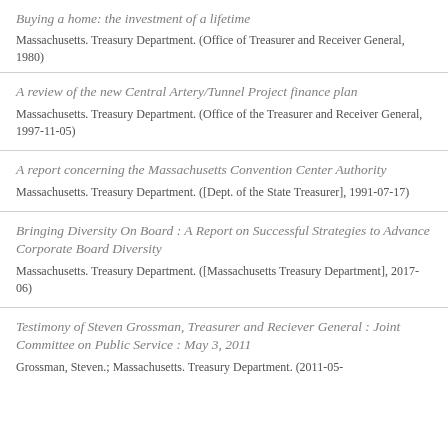Buying a home: the investment of a lifetime
Massachusetts. Treasury Department. (Office of Treasurer and Receiver General, 1980)
A review of the new Central Artery/Tunnel Project finance plan
Massachusetts. Treasury Department. (Office of the Treasurer and Receiver General, 1997-11-05)
A report concerning the Massachusetts Convention Center Authority
Massachusetts. Treasury Department. ([Dept. of the State Treasurer], 1991-07-17)
Bringing Diversity On Board : A Report on Successful Strategies to Advance Corporate Board Diversity
Massachusetts. Treasury Department. ([Massachusetts Treasury Department], 2017-06)
Testimony of Steven Grossman, Treasurer and Reciever General : Joint Committee on Public Service : May 3, 2011
Grossman, Steven.; Massachusetts. Treasury Department. (2011-05-